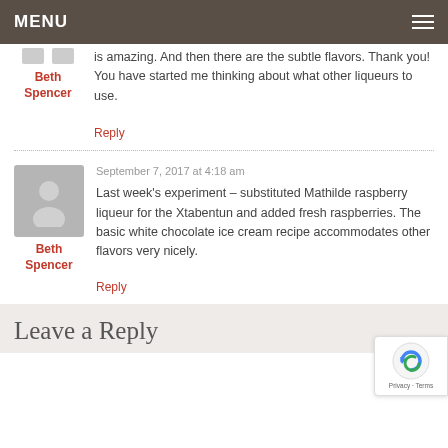MENU
is amazing. And then there are the subtle flavors. Thank you! You have started me thinking about what other liqueurs to use.
Reply
Beth Spencer
September 7, 2017 at 4:18 am
Last week's experiment – substituted Mathilde raspberry liqueur for the Xtabentun and added fresh raspberries. The basic white chocolate ice cream recipe accommodates other flavors very nicely.
Reply
Beth Spencer
Leave a Reply